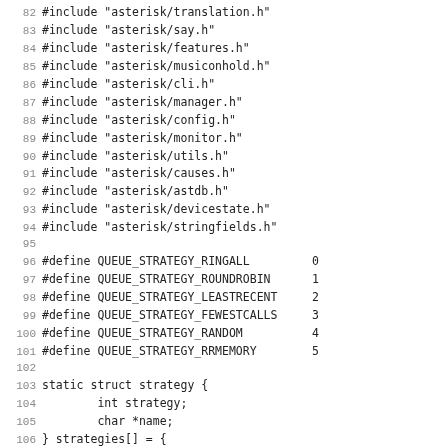Code listing lines 82-114: C source file with #include directives, #define constants for QUEUE_STRATEGY values, and static struct strategy definition with strategies[] array initialization.